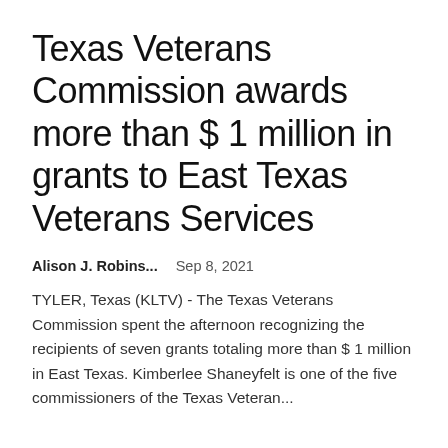Texas Veterans Commission awards more than $ 1 million in grants to East Texas Veterans Services
Alison J. Robins...   Sep 8, 2021
TYLER, Texas (KLTV) - The Texas Veterans Commission spent the afternoon recognizing the recipients of seven grants totaling more than $ 1 million in East Texas. Kimberlee Shaneyfelt is one of the five commissioners of the Texas Veteran...